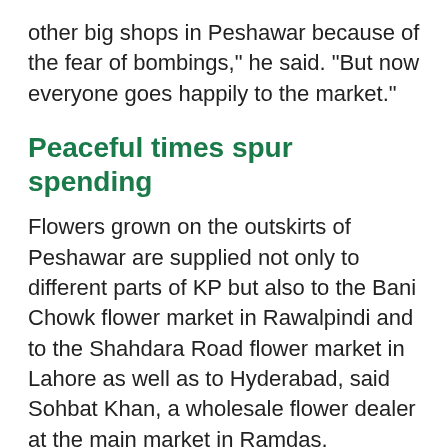other big shops in Peshawar because of the fear of bombings," he said. "But now everyone goes happily to the market."
Peaceful times spur spending
Flowers grown on the outskirts of Peshawar are supplied not only to different parts of KP but also to the Bani Chowk flower market in Rawalpindi and to the Shahdara Road flower market in Lahore as well as to Hyderabad, said Sohbat Khan, a wholesale flower dealer at the main market in Ramdas.
"At least 75% of local flowers are supplied to Punjab and 25% are sold" in KP, Khan told Pakistan Forward.